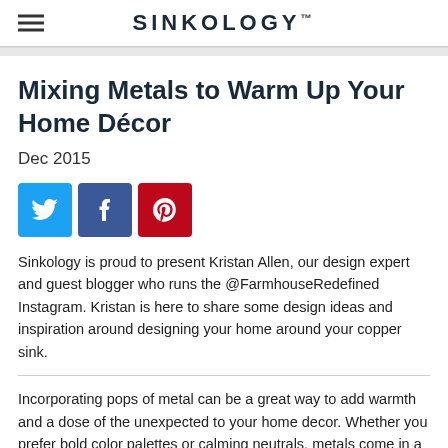SINKOLOGY
Mixing Metals to Warm Up Your Home Décor
Dec 2015
[Figure (infographic): Social media share buttons: Twitter (blue), Facebook (dark blue), Pinterest (red)]
Sinkology is proud to present Kristan Allen, our design expert and guest blogger who runs the @FarmhouseRedefined Instagram. Kristan is here to share some design ideas and inspiration around designing your home around your copper sink.
Incorporating pops of metal can be a great way to add warmth and a dose of the unexpected to your home decor. Whether you prefer bold color palettes or calming neutrals, metals come in a variety of tones that are both beautiful and